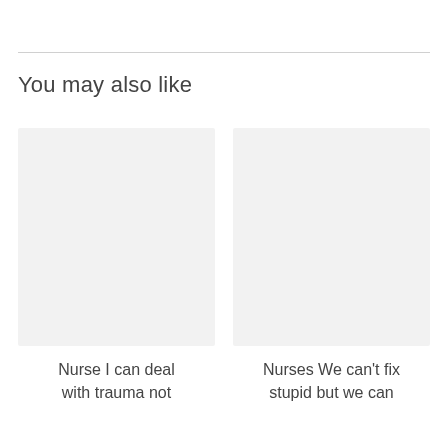You may also like
[Figure (illustration): Placeholder image box (light gray rectangle) for a related article thumbnail — left card]
Nurse I can deal with trauma not
[Figure (illustration): Placeholder image box (light gray rectangle) for a related article thumbnail — right card]
Nurses We can't fix stupid but we can